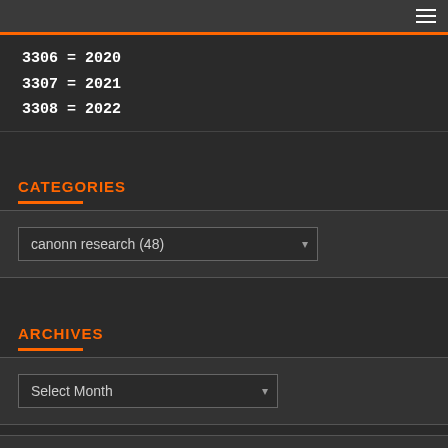3306 = 2020
3307 = 2021
3308 = 2022
CATEGORIES
canonn research  (48)
ARCHIVES
Select Month
Français
English